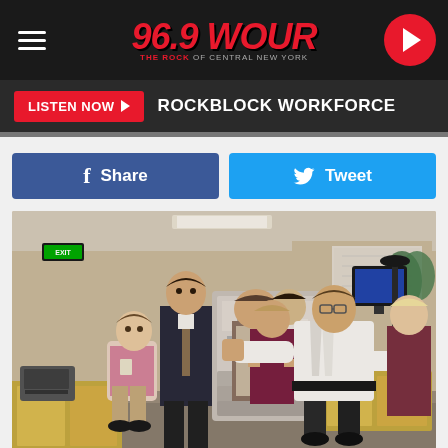96.9 WOUR - THE ROCK OF CENTRAL NEW YORK
LISTEN NOW ▶  ROCKBLOCK WORKFORCE
[Figure (screenshot): Facebook Share button and Twitter Tweet button for social sharing]
[Figure (photo): Scene from The Office TV show with a man in a karate gi and black belt doing a martial arts pose in an office, while coworkers watch from their desks. A woman sits at a desk in the foreground, several coworkers stand watching in the middle, and a large copier machine is visible in the center of the office.]